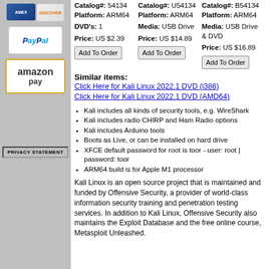[Figure (logo): AMEX and Discover card logos]
[Figure (logo): PayPal logo]
[Figure (logo): Amazon Pay logo]
PRIVACY STATEMENT
| Catalog#: 54134 | Catalog#: U54134 | Catalog#: B54134 |
| Platform: ARM64 | Platform: ARM64 | Platform: ARM64 |
| DVD's: 1 | Media: USB Drive | Media: USB Drive & DVD |
| Price: US $2.39 | Price: US $14.89 | Price: US $16.89 |
| Add To Order | Add To Order | Add To Order |
Similar items:
Click Here for Kali Linux 2022.1 DVD (i386)
Click Here for Kali Linux 2022.1 DVD (AMD64)
Kali includes all kinds of security tools, e.g. WireShark
Kali includes radio CHIRP and Ham Radio options
Kali includes Arduino tools
Boots as Live, or can be installed on hard drive
XFCE default password for root is toor - user: root | password: toor
ARM64 build is for Apple M1 processor
Kali Linux is an open source project that is maintained and funded by Offensive Security, a provider of world-class information security training and penetration testing services. In addition to Kali Linux, Offensive Security also maintains the Exploit Database and the free online course, Metasploit Unleashed.